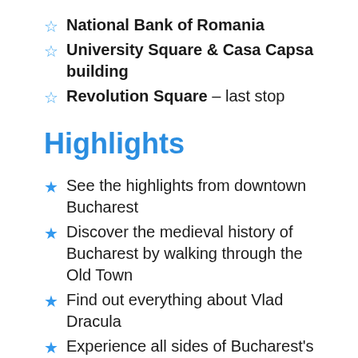National Bank of Romania
University Square & Casa Capsa building
Revolution Square – last stop
Highlights
See the highlights from downtown Bucharest
Discover the medieval history of Bucharest by walking through the Old Town
Find out everything about Vlad Dracula
Experience all sides of Bucharest's contrasting